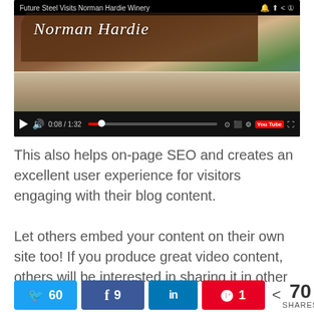[Figure (screenshot): Embedded YouTube video player showing Norman Hardie Winery sign, with title bar 'Future Steel Visits Norman Hardie Winery', progress bar showing 0:08/1:32, and standard YouTube controls.]
This also helps on-page SEO and creates an excellent user experience for visitors engaging with their blog content.
Let others embed your content on their own site too! If you produce great video content, others will be interested in sharing it in other ways than simply
[Figure (infographic): Social share bar with Twitter (60), Facebook (9), LinkedIn, Pinterest (1) buttons and total 70 SHARES counter.]